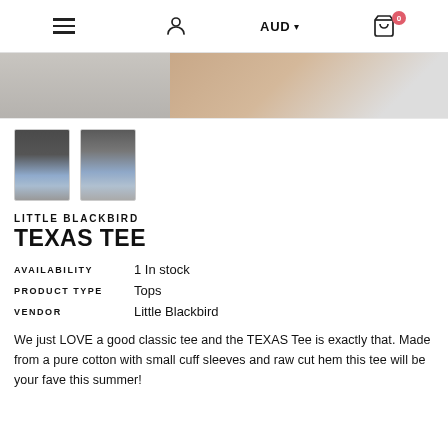[Figure (screenshot): Website navigation bar with hamburger menu, user profile icon, AUD currency selector, and cart icon with badge showing 0]
[Figure (photo): Hero image strip showing two photos of a woman wearing the Texas Tee with a denim skirt]
[Figure (photo): Two thumbnail images of a woman wearing the Texas Tee with a denim skirt]
LITTLE BLACKBIRD
TEXAS TEE
| AVAILABILITY | 1 In stock |
| PRODUCT TYPE | Tops |
| VENDOR | Little Blackbird |
We just LOVE a good classic tee and the TEXAS Tee is exactly that. Made from a pure cotton with small cuff sleeves and raw cut hem this tee will be your fave this summer!